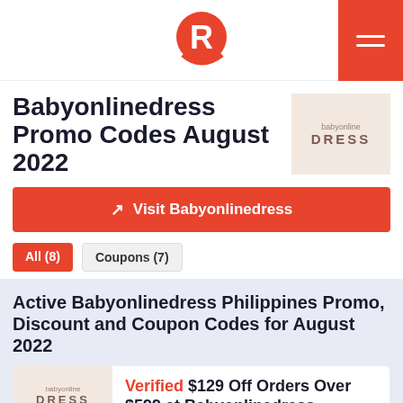Rappler logo header with hamburger menu
Babyonlinedress Promo Codes August 2022
[Figure (logo): Babyonline DRESS brand logo on pinkish-beige background]
Visit Babyonlinedress
All (8)
Coupons (7)
Active Babyonlinedress Philippines Promo, Discount and Coupon Codes for August 2022
Verified $129 Off Orders Over $599 at Babyonlinedress